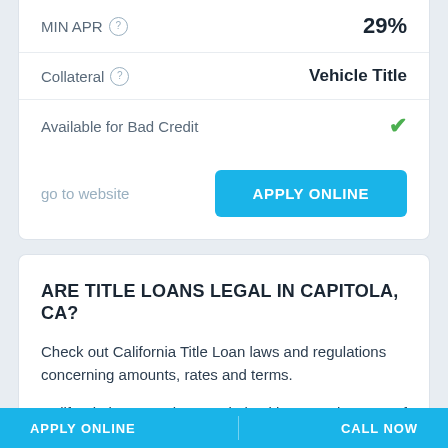| Field | Value |
| --- | --- |
| MIN APR ? | 29% |
| Collateral ? | Vehicle Title |
| Available for Bad Credit | ✓ |
go to website
APPLY ONLINE
ARE TITLE LOANS LEGAL IN CAPITOLA, CA?
Check out California Title Loan laws and regulations concerning amounts, rates and terms.
California laws regulate Capitola Title Loans in terms of maximum and minimum amounts available and interest rates charged. Any eligible California resident can get $100 - $50,000. The repayment terms vary – 31 day(s), up
APPLY ONLINE   CALL NOW